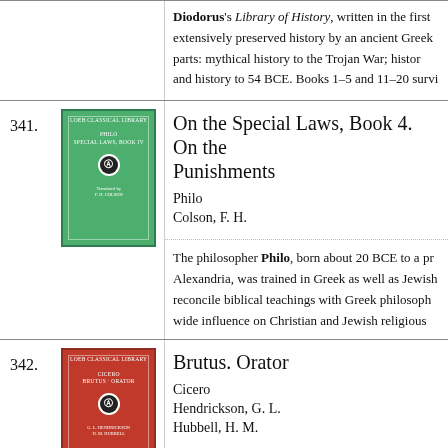Diodorus's Library of History, written in the first century BCE, is the most extensively preserved history by an ancient Greek writer, divided into three parts: mythical history to the Trojan War; history to Alexander the Great; and history to 54 BCE. Books 1–5 and 11–20 survive complete.
341.
[Figure (illustration): Green Loeb Classical Library book cover for Philo, Special Laws Book 4]
On the Special Laws, Book 4. On the Virtues. On Rewards and Punishments
Philo
Colson, F. H.
The philosopher Philo, born about 20 BCE to a prominent Jewish family in Alexandria, was trained in Greek as well as Jewish learning and attempted to reconcile biblical teachings with Greek philosophy. He exerted extremely wide influence on Christian and Jewish religious thought.
342.
[Figure (illustration): Red Loeb Classical Library book cover for Cicero, Brutus and Orator]
Brutus. Orator
Cicero
Hendrickson, G. L.
Hubbell, H. M.
We know more of Marcus Tullius Cicero (106–43 BCE), statesman, orator, and philosopher, than of any other Roman. Besides the orations and rhetorical